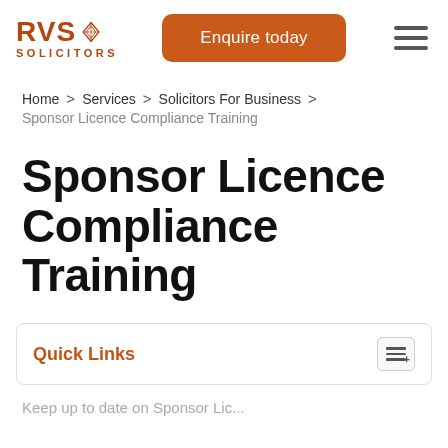[Figure (logo): RVS Solicitors logo with diamond icon in burnt orange/brown color]
Enquire today
[Figure (other): Hamburger menu icon (three horizontal lines)]
Home > Services > Solicitors For Business > Sponsor Licence Compliance Training
Sponsor Licence Compliance Training
Quick Links